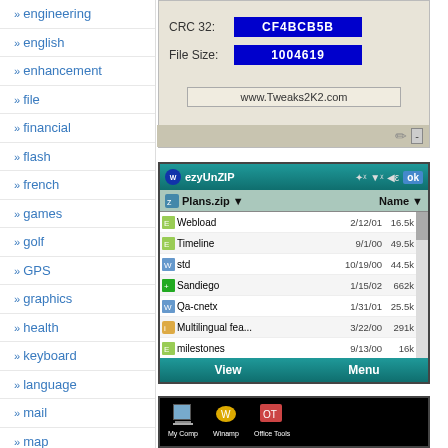engineering
english
enhancement
file
financial
flash
french
games
golf
GPS
graphics
health
keyboard
language
mail
map
media
medical
misc/fun
[Figure (screenshot): App screenshot showing CRC 32: CF4BCB5B, File Size: 1004619, URL: www.Tweaks2K2.com]
[Figure (screenshot): ezyUnZIP app screenshot showing Plans.zip file list with files: Webload 2/12/01 16.5k, Timeline 9/1/00 49.5k, std 10/19/00 44.5k, Sandiego 1/15/02 662k, Qa-cnetx 1/31/01 25.5k, Multilingual fea... 3/22/00 291k, milestones 9/13/00 16k, Ifilter 12/4/00 78k, Guidconv 2/12/00 414b]
[Figure (screenshot): Screenshot showing desktop icons including My Comp, Winamp, Office Tools]